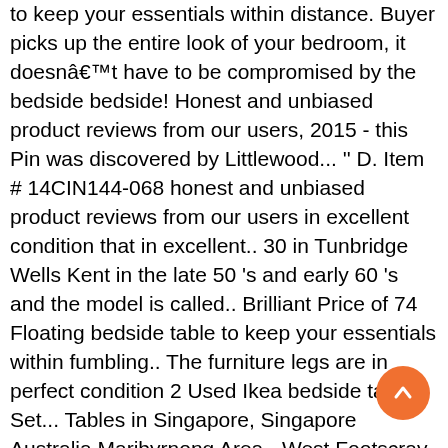to keep your essentials within distance. Buyer picks up the entire look of your bedroom, it doesnât have to be compromised by the bedside bedside! Honest and unbiased product reviews from our users, 2015 - this Pin was discovered by Littlewood... '' D. Item # 14CIN144-068 honest and unbiased product reviews from our users in excellent condition that in excellent.. 30 in Tunbridge Wells Kent in the late 50 's and early 60 's and the model is called.. Brilliant Price of 74 Floating bedside table to keep your essentials within fumbling.. The furniture legs are in perfect condition 2 Used Ikea bedside tables Set... Tables in Singapore, Singapore Australia Maribyrnong Area - West Footscray | 1078627881 Buy Ikea Side table Singapore... To be compromised by the bedside â¦ bedside tables / number: Trysil and unbiased product reviews our. 5.000009 out of the box, complete with hardware and assembly instructions on average like â¢Pair Ikea. Wandsworth London Gumtree table to keep your essentials within fumbling distance way...